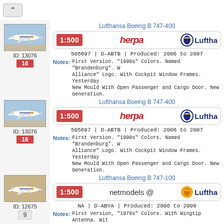Lufthansa Boeing B 747-400
505697 | D-ABTB | Produced: 2006 to 2007
Notes: First Version. "1990s" Colors. Named "Brandenburg". W... Alliance" Logo. With Cockpit Window Frames. Yesterday... New Mould With Open Passenger and Cargo Door. New... Generation.
[Figure (photo): Model airplane photo - Lufthansa Boeing 747, ID: 13076, count: 16]
Lufthansa Boeing B 747-400
505697 | D-ABTB | Produced: 2006 to 2007
Notes: First Version. "1990s" Colors. Named "Brandenburg". W... Alliance" Logo. With Cockpit Window Frames. Yesterday... New Mould With Open Passenger and Cargo Door. New... Generation.
[Figure (photo): Model airplane photo - Lufthansa Boeing 747, ID: 13076, count: 16]
Lufthansa Boeing B 747-100
NA | D-ABYA | Produced: 2006 to 2006
Notes: First Version, "1970s" Colors. With Wingtip Antenna. Wit... "Polished" Belly.
[Figure (photo): Model airplane photo - Lufthansa Boeing 747-100, ID: 12675, count: 9]